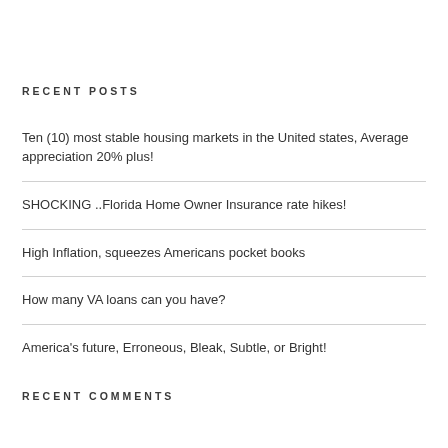RECENT POSTS
Ten (10) most stable housing markets in the United states, Average appreciation 20% plus!
SHOCKING ..Florida Home Owner Insurance rate hikes!
High Inflation, squeezes Americans pocket books
How many VA loans can you have?
America's future, Erroneous, Bleak, Subtle, or Bright!
RECENT COMMENTS